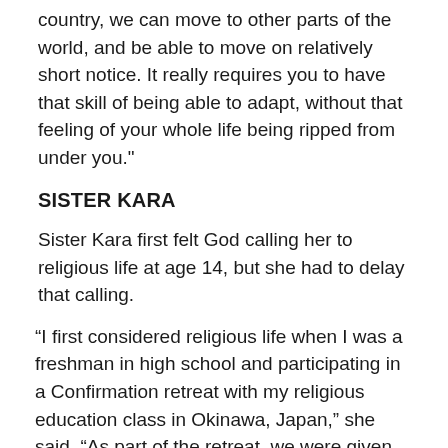country, we can move to other parts of the world, and be able to move on relatively short notice. It really requires you to have that skill of being able to adapt, without that feeling of your whole life being ripped from under you."
SISTER KARA
Sister Kara first felt God calling her to religious life at age 14, but she had to delay that calling.
“I first considered religious life when I was a freshman in high school and participating in a Confirmation retreat with my religious education class in Okinawa, Japan,” she said. “As part of the retreat, we were given an